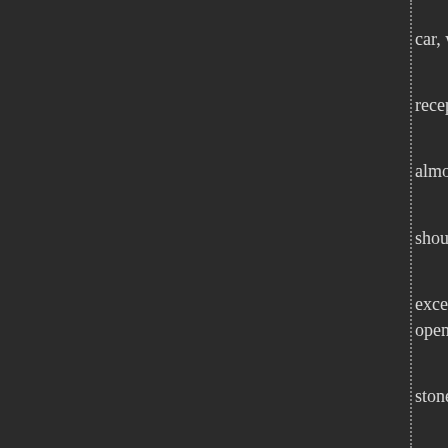He found the case waiting for him in that lady's n not until he had settled down in the car, with it in the se these highly valuable and secret consignments.
He observed this first with curiosity rather than su involved the use of a makeshift receptacle. It would be done so often before.
But then his attention became fixed upon the fast suitcases, and that can be opened by almost any key o
"It's ten to one," he thought, "that I could do it from key he held for the valise which should have come wo
The same disposition which had led him to make After all, he was alone in the car, except for Burfoot, si of keys, readily found one which would open the case, two-inch opening which followed the yielding of lock, h
With an exclamation, "What the devil's this?" he p master handling a large fragment of stone, which he h
"Burfoot," Snacklit said, "there's some funny busi rid of this over the Low Level Bridge."
"Followed? I'm not that sure. There's a taxi hangi
"Then double back at Sistern road. That ought to
"Right you are, sir."
Burfoot turned the car at a left-hand street, and th that, when Irene's taxi followed him, he was only a sho
"Burfoot? Oh, Burfoot! All th